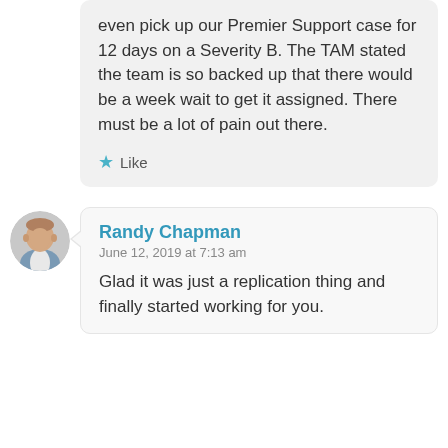even pick up our Premier Support case for 12 days on a Severity B. The TAM stated the team is so backed up that there would be a week wait to get it assigned. There must be a lot of pain out there.
Like
[Figure (photo): Circular avatar photo of Randy Chapman, a man in a suit jacket]
Randy Chapman
June 12, 2019 at 7:13 am
Glad it was just a replication thing and finally started working for you.